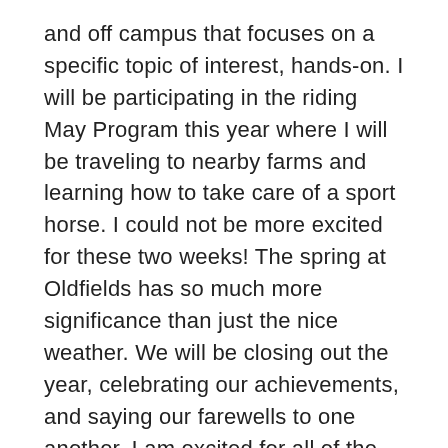and off campus that focuses on a specific topic of interest, hands-on. I will be participating in the riding May Program this year where I will be traveling to nearby farms and learning how to take care of a sport horse. I could not be more excited for these two weeks! The spring at Oldfields has so much more significance than just the nice weather. We will be closing out the year, celebrating our achievements, and saying our farewells to one another. I am excited for all of the fun traditions that we will take part in this spring to bring this school year to a close. It has been a challenge at times to navigate the pandemic, but I am so happy to be surrounded by people who have my best interest in mind. I am looking forward to the summer mostly because my best friend and I are staying together for